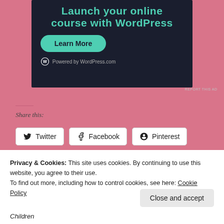[Figure (screenshot): WordPress.com advertisement banner with dark navy background, teal title 'Launch your online course with WordPress', a green 'Learn More' button, and 'Powered by WordPress.com' footer text with WordPress logo]
REPORT THIS AD
Share this:
Twitter
Facebook
Pinterest
Privacy & Cookies: This site uses cookies. By continuing to use this website, you agree to their use.
To find out more, including how to control cookies, see here: Cookie Policy
Close and accept
Children